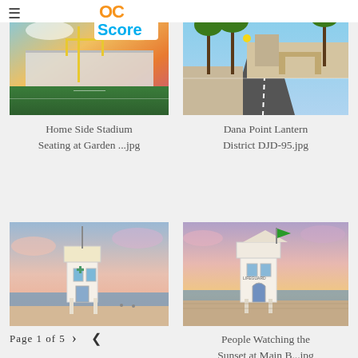≡
[Figure (logo): OC Score logo with orange OC text and teal Score text]
[Figure (photo): Home side stadium seating at a football field with green turf, yellow goal posts, bleachers, and colorful sunset sky]
[Figure (photo): Dana Point Lantern District street view with palm trees, road, archway gateway and blue sky]
Home Side Stadium Seating at Garden ...jpg
Dana Point Lantern District DJD-95.jpg
[Figure (photo): Lifeguard tower on a beach at sunset/dusk with pink and blue sky, ocean in background]
[Figure (photo): People Watching the Sunset at Main Beach - lifeguard tower at sunset with warm pink and orange sky tones]
Page 1 of 5
People Watching the Sunset at Main B...jpg